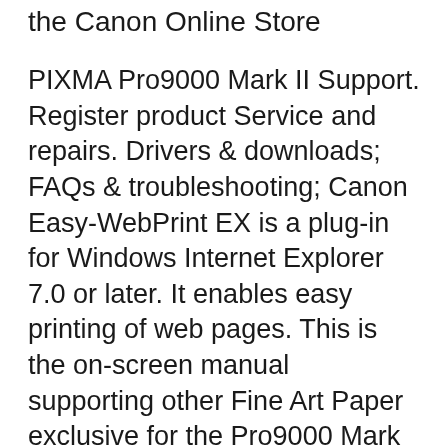the Canon Online Store
PIXMA Pro9000 Mark II Support. Register product Service and repairs. Drivers & downloads; FAQs & troubleshooting; Canon Easy-WebPrint EX is a plug-in for Windows Internet Explorer 7.0 or later. It enables easy printing of web pages. This is the on-screen manual supporting other Fine Art Paper exclusive for the Pro9000 Mark II/Pro9500 Canon PIXMA Pro9000 Mark II Driver Manual. Printer drivers are simply software whose major purpose is to turn the information you command via the OS to print off to the form that specifies to the printer.
Download drivers, software, firmware